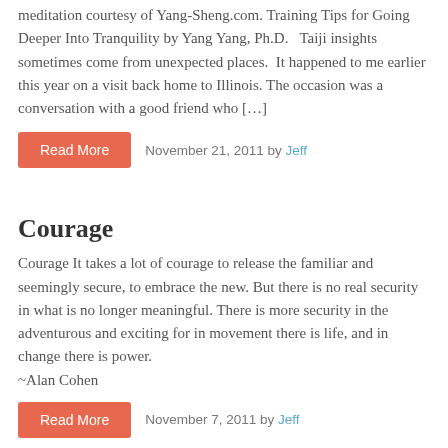meditation courtesy of Yang-Sheng.com. Training Tips for Going Deeper Into Tranquility by Yang Yang, Ph.D.   Taiji insights sometimes come from unexpected places.  It happened to me earlier this year on a visit back home to Illinois. The occasion was a conversation with a good friend who […]
November 21, 2011 by Jeff
Courage
Courage It takes a lot of courage to release the familiar and seemingly secure, to embrace the new. But there is no real security in what is no longer meaningful. There is more security in the adventurous and exciting for in movement there is life, and in change there is power. ~Alan Cohen
November 7, 2011 by Jeff